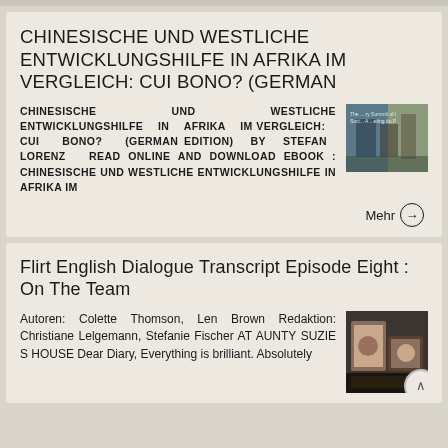CHINESISCHE UND WESTLICHE ENTWICKLUNGSHILFE IN AFRIKA IM VERGLEICH: CUI BONO? (GERMAN
CHINESISCHE UND WESTLICHE ENTWICKLUNGSHILFE IN AFRIKA IM VERGLEICH: CUI BONO? (GERMAN EDITION) BY STEFAN LORENZ READ ONLINE AND DOWNLOAD EBOOK : CHINESISCHE UND WESTLICHE ENTWICKLUNGSHILFE IN AFRIKA IM
Mehr →
Flirt English Dialogue Transcript Episode Eight : On The Team
Autoren: Colette Thomson, Len Brown Redaktion: Christiane Lelgemann, Stefanie Fischer AT AUNTY SUZIE S HOUSE Dear Diary, Everything is brilliant. Absolutely